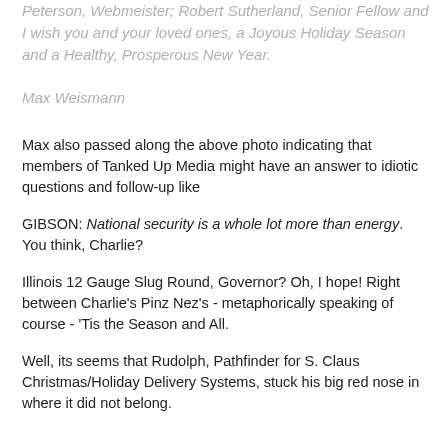Peterson, Webmeister; Robert Sutherland, Senior Fellow and I wish you and your loved ones, a Joyous Holiday Season and a Healthy, Prosperous New Year.
Max Weismann
Max also passed along the above photo indicating that members of Tanked Up Media might have an answer to idiotic questions and follow-up like
GIBSON: National security is a whole lot more than energy. You think, Charlie?
Illinois 12 Gauge Slug Round, Governor? Oh, I hope! Right between Charlie's Pinz Nez's - metaphorically speaking of course - 'Tis the Season and All.
Well, its seems that Rudolph, Pathfinder for S. Claus Christmas/Holiday Delivery Systems, stuck his big red nose in where it did not belong.